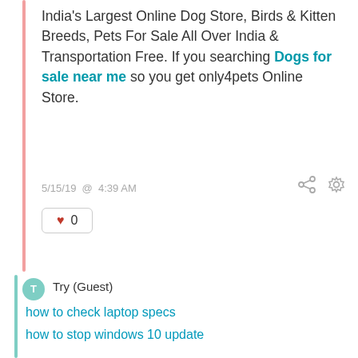India's Largest Online Dog Store, Birds & Kitten Breeds, Pets For Sale All Over India & Transportation Free. If you searching Dogs for sale near me so you get only4pets Online Store.
5/15/19 @ 4:39 AM
♥ 0
Try (Guest)
how to check laptop specs
how to stop windows 10 update
computer shuts down randomly
how to delete instagram account